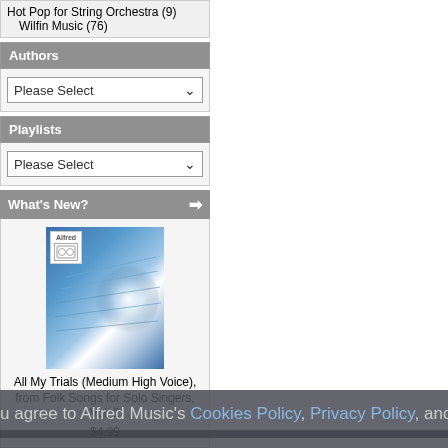Hot Pop for String Orchestra (9)
Wilfin Music (76)
Authors
Please Select
Playlists
Please Select
What's New?
[Figure (photo): Album cover for 'All My Trials (Medium High Voice), from Folk Songs for Solo Singers, Vol. 2' - blue toned abstract image with Alfred Music logo]
All My Trials (Medium High Voice), from Folk Songs for Solo Singers, Vol. 2
$4.99
Information
Contact Us
Product Request
u agree to Alfred Music's Cookies Policy, Privacy Policy, and Ter